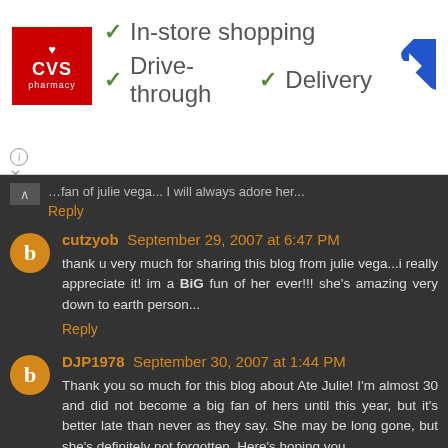[Figure (infographic): CVS Pharmacy advertisement banner showing logo with checkmarks for In-store shopping, Drive-through, and Delivery, with a navigation icon]
fan of julie vega... I will always adore her...
Reply
cutzyob September 29, 2007 at 6:47 PM
thank u very much for sharing this blog from julie vega...i really appreciate it! im a BiG fun of her ever!!! she's amazing very down to earth person...
Reply
DJP1978 September 30, 2007 at 1:44 PM
Thank you so much for this blog about Ate Julie! I'm almost 30 and did not become a big fan of hers until this year, but it's better late than never as they say. She may be long gone, but she's definitely not forgotten. Here's hoping you